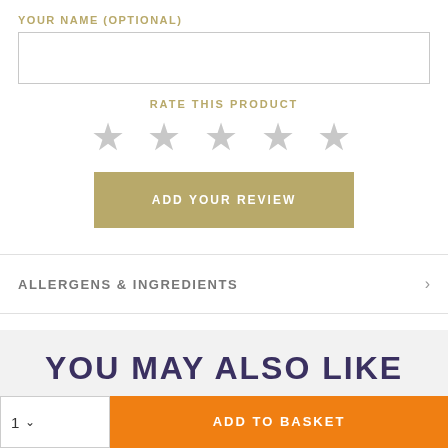YOUR NAME (OPTIONAL)
RATE THIS PRODUCT
[Figure (other): Five empty star rating icons in grey]
ADD YOUR REVIEW
ALLERGENS & INGREDIENTS
DISCLAIMER
YOU MAY ALSO LIKE
1
ADD TO BASKET